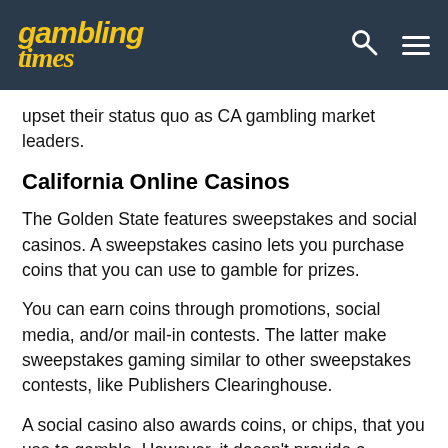gambling times
upset their status quo as CA gambling market leaders.
California Online Casinos
The Golden State features sweepstakes and social casinos. A sweepstakes casino lets you purchase coins that you can use to gamble for prizes.
You can earn coins through promotions, social media, and/or mail-in contests. The latter make sweepstakes gaming similar to other sweepstakes contests, like Publishers Clearinghouse.
A social casino also awards coins, or chips, that you use to gamble. However, it doesn't provide a chance to win money or other prizes.